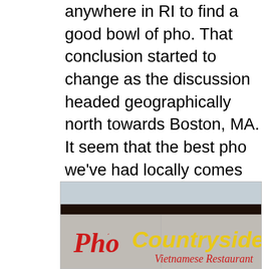anywhere in RI to find a good bowl of pho. That conclusion started to change as the discussion headed geographically north towards Boston, MA. It seem that the best pho we've had locally comes from the Dorchester and Boston areas. I've been to Pho Countryside in Quincy, MA numerous times because it does stick to the same rule of thumb that the closer to Dorchester and Boston you get, the better the pho!
[Figure (photo): Exterior photo of Pho Countryside Vietnamese Restaurant signage. The sign shows 'Pho' in red cursive script and 'Countryside' in large yellow letters, with 'Vietnamese Restaurant' in red cursive script below.]